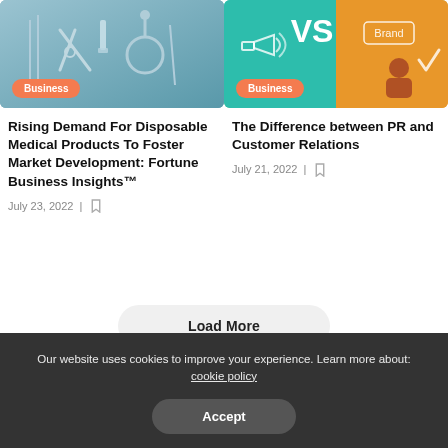[Figure (photo): Medical tools on a teal/blue background including scissors, stethoscope, and medical instruments with a 'Business' orange badge]
Rising Demand For Disposable Medical Products To Foster Market Development: Fortune Business Insights™
July 23, 2022
[Figure (illustration): Marketing illustration showing 'VS' text with megaphone and brand elements on teal and orange background with a 'Business' orange badge]
The Difference between PR and Customer Relations
July 21, 2022
Load More
Our website uses cookies to improve your experience. Learn more about: cookie policy
Accept